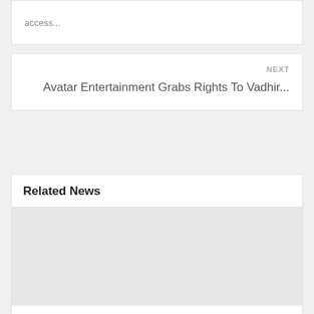access...
NEXT
Avatar Entertainment Grabs Rights To Vadhir...
Related News
[Figure (photo): Placeholder image for related news article]
Inflation-weary millennials canceling Netflix...